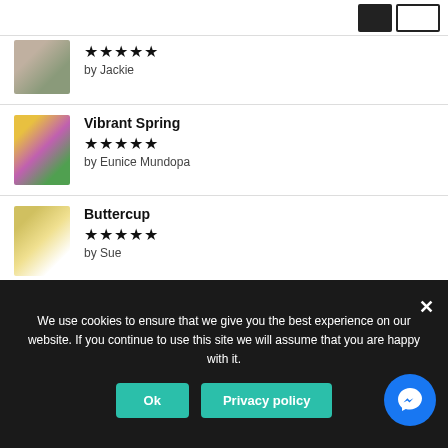[Figure (screenshot): Partial first review showing flower bouquet image, 5-star rating, and 'by Jackie' author label]
by Jackie
[Figure (photo): Flower bouquet photo for Vibrant Spring review]
Vibrant Spring
★★★★★
by Eunice Mundopa
[Figure (photo): Flower bouquet photo for Buttercup review]
Buttercup
★★★★★
by Sue
[Figure (photo): Flower bouquet photo for Pretty in Pink review]
Pretty in Pink
★★★★★
by Cassie Hawkins
We use cookies to ensure that we give you the best experience on our website. If you continue to use this site we will assume that you are happy with it.
Ok
Privacy policy